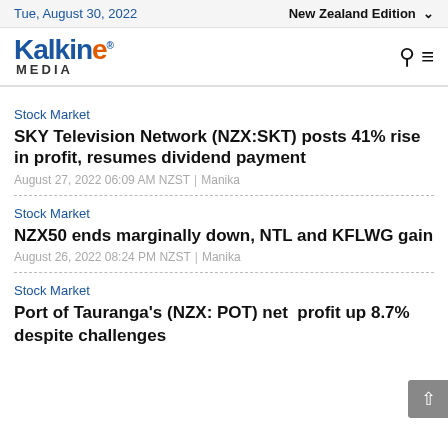Tue, August 30, 2022 | New Zealand Edition
[Figure (logo): Kalkine Media logo with search and menu icons]
Stock Market
SKY Television Network (NZX:SKT) posts 41% rise in profit, resumes dividend payment
August 27, 2022 06:09 AM NZST | Manika
Stock Market
NZX50 ends marginally down, NTL and KFLWG gain
August 26, 2022 08:24 PM NZST | Manika
Stock Market
Port of Tauranga's (NZX: POT) net profit up 8.7% despite challenges